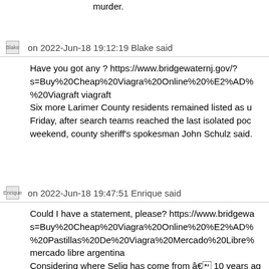murder.
Blake   on 2022-Jun-18 19:12:19 Blake said
Have you got any ? https://www.bridgewaternj.gov/?s=Buy%20Cheap%20Viagra%20Online%20%E2%AD%90%20Viagraft viagraft
Six more Larimer County residents remained listed as u Friday, after search teams reached the last isolated poc weekend, county sheriff's spokesman John Schulz said.
Enrique   on 2022-Jun-18 19:47:51 Enrique said
Could I have a statement, please? https://www.bridgewa s=Buy%20Cheap%20Viagra%20Online%20%E2%AD%90 %20Pastillas%20De%20Viagra%20Mercado%20Libre% mercado libre argentina
Considering where Selig has come from â 10 years ag that of the commissioner who looked the other way (alo the only commissioner to cancel the World Series; the c replacement players â this is shaping up as one of the baseball.